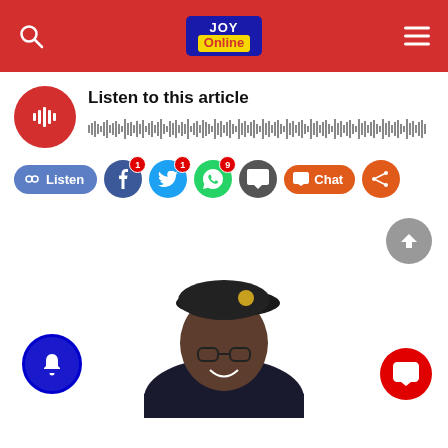JOY Online
Listen to this article
[Figure (screenshot): Audio waveform player bar]
[Figure (screenshot): Social sharing bar with Listen, Facebook (1), Twitter (1), WhatsApp (9), comment, Chat, and share buttons]
[Figure (photo): Photo of a person wearing a dark military beret with gold badge and glasses, smiling]